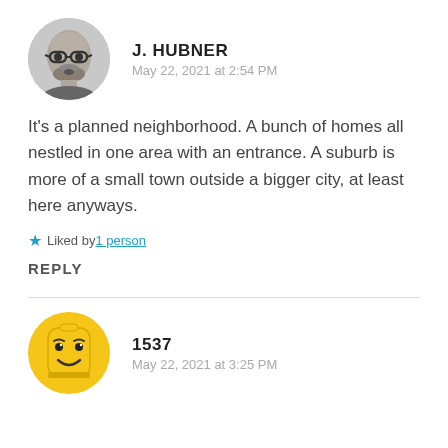[Figure (photo): Circular avatar photo of a bald man with glasses and beard, black and white]
J. HUBNER
May 22, 2021 at 2:54 PM
It’s a planned neighborhood. A bunch of homes all nestled in one area with an entrance. A suburb is more of a small town outside a bigger city, at least here anyways.
★ Liked by 1 person
REPLY
[Figure (illustration): Circular yellow Lego head avatar with smile]
1537
May 22, 2021 at 3:25 PM